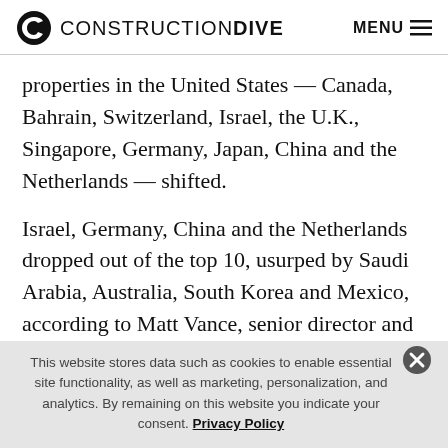CONSTRUCTION DIVE   MENU
properties in the United States — Canada, Bahrain, Switzerland, Israel, the U.K., Singapore, Germany, Japan, China and the Netherlands — shifted.
Israel, Germany, China and the Netherlands dropped out of the top 10, usurped by Saudi Arabia, Australia, South Korea and Mexico, according to Matt Vance, senior director and Americas head of multifamily research for CBRE Econometric Advisors.
This website stores data such as cookies to enable essential site functionality, as well as marketing, personalization, and analytics. By remaining on this website you indicate your consent. Privacy Policy